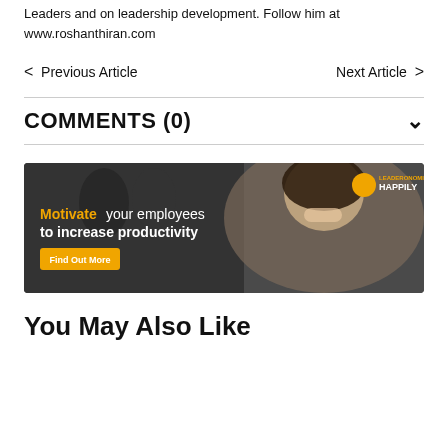Leaders and on leadership development. Follow him at www.roshanthiran.com
< Previous Article    Next Article >
COMMENTS (0)
[Figure (photo): Advertisement banner with a smiling woman. Text reads: 'Motivate your employees to increase productivity' with a 'Find Out More' button. Leaderonomics Happily logo in top right corner.]
You May Also Like